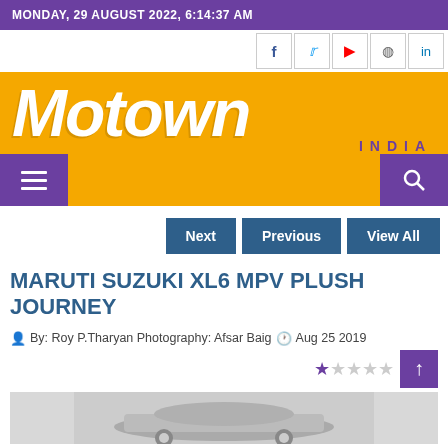MONDAY, 29 AUGUST 2022, 6:14:37 AM
[Figure (logo): Motown India logo on orange background]
Next  Previous  View All
MARUTI SUZUKI XL6 MPV PLUSH JOURNEY
By: Roy P.Tharyan Photography: Afsar Baig   Aug 25 2019
[Figure (photo): Maruti Suzuki XL6 MPV car photograph]